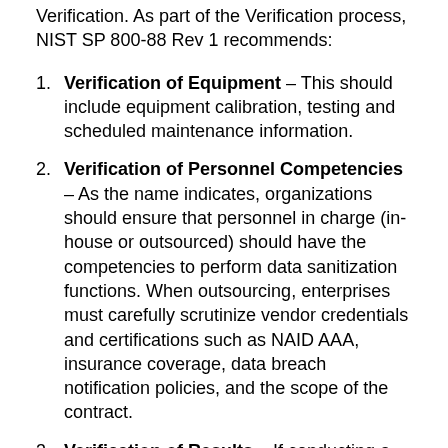Verification. As part of the Verification process, NIST SP 800-88 Rev 1 recommends:
Verification of Equipment – This should include equipment calibration, testing and scheduled maintenance information.
Verification of Personnel Competencies – As the name indicates, organizations should ensure that personnel in charge (in-house or outsourced) should have the competencies to perform data sanitization functions. When outsourcing, enterprises must carefully scrutinize vendor credentials and certifications such as NAID AAA, insurance coverage, data breach notification policies, and the scope of the contract.
Verification of Results – If conducting a full verification of all sanitized equipment, a full reading of all accessible areas should be done to